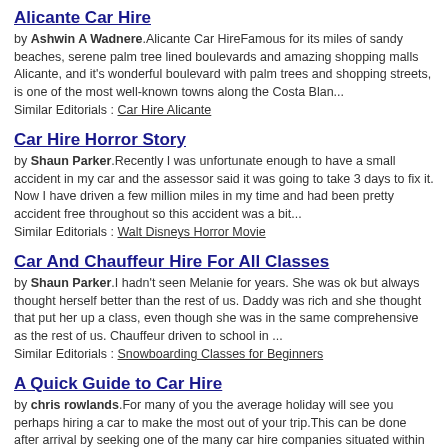Alicante Car Hire
by Ashwin A Wadnere.Alicante Car HireFamous for its miles of sandy beaches, serene palm tree lined boulevards and amazing shopping malls Alicante, and it's wonderful boulevard with palm trees and shopping streets, is one of the most well-known towns along the Costa Blan...
Similar Editorials : Car Hire Alicante
Car Hire Horror Story
by Shaun Parker.Recently I was unfortunate enough to have a small accident in my car and the assessor said it was going to take 3 days to fix it. Now I have driven a few million miles in my time and had been pretty accident free throughout so this accident was a bit...
Similar Editorials : Walt Disneys Horror Movie
Car And Chauffeur Hire For All Classes
by Shaun Parker.I hadn't seen Melanie for years. She was ok but always thought herself better than the rest of us. Daddy was rich and she thought that put her up a class, even though she was in the same comprehensive as the rest of us. Chauffeur driven to school in ...
Similar Editorials : Snowboarding Classes for Beginners
A Quick Guide to Car Hire
by chris rowlands.For many of you the average holiday will see you perhaps hiring a car to make the most out of your trip.This can be done after arrival by seeking one of the many car hire companies situated within your holiday resort or pre-booked in the UK.If you pl...
Similar Editorials : Murcia Car Hire Guide